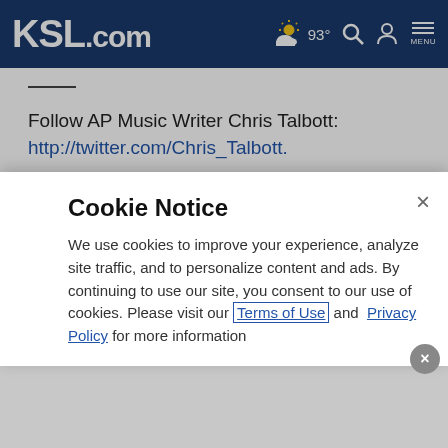KSL.com — 93° weather icon, search, account, menu
Follow AP Music Writer Chris Talbott: http://twitter.com/Chris_Talbott.
(Copyright 2013 The Associated Press. All rights reserved. This material may not be published, broadcast, rewritten or
Cookie Notice
We use cookies to improve your experience, analyze site traffic, and to personalize content and ads. By continuing to use our site, you consent to our use of cookies. Please visit our Terms of Use and Privacy Policy for more information.